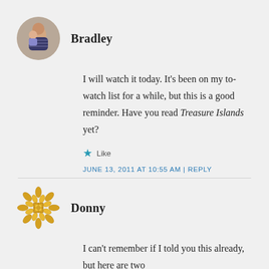[Figure (photo): Circular avatar photo of Bradley, a man holding a child]
Bradley
I will watch it today. It's been on my to-watch list for a while, but this is a good reminder. Have you read Treasure Islands yet?
★ Like
JUNE 13, 2011 AT 10:55 AM | REPLY
[Figure (illustration): Golden decorative flower/snowflake icon for Donny]
Donny
I can't remember if I told you this already, but here are two